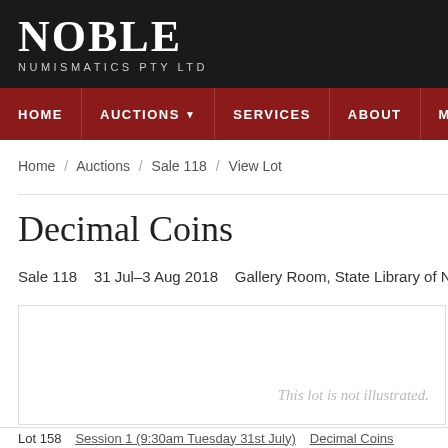NOBLE NUMISMATICS PTY LTD
HOME  AUCTIONS  SERVICES  ABOUT  MY
Home / Auctions / Sale 118 / View Lot
Decimal Coins
Sale 118   31 Jul–3 Aug 2018   Gallery Room, State Library of NSW
[Figure (other): Lot image placeholder — This lot is not illustrated.]
Lot 158   Session 1 (9:30am Tuesday 31st July)   Decimal Coins